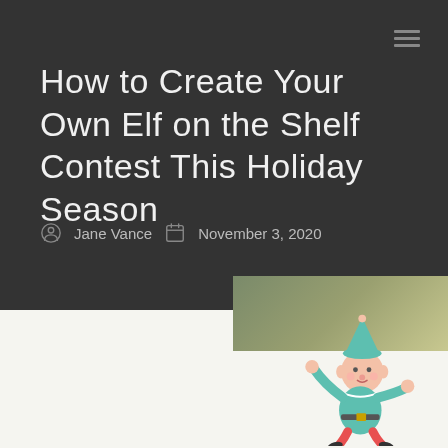How to Create Your Own Elf on the Shelf Contest This Holiday Season
Jane Vance   November 3, 2020
[Figure (illustration): Cartoon elf character in green hat and outfit, posed with arms out, against an olive/khaki gradient background]